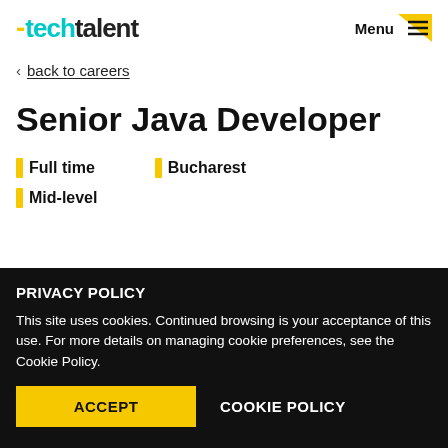techtalent | Menu
< back to careers
Senior Java Developer
Full time   Bucharest
Mid-level
PRIVACY POLICY
This site uses cookies. Continued browsing is your acceptance of this use. For more details on managing cookie preferences, see the Cookie Policy.
ACCEPT   COOKIE POLICY